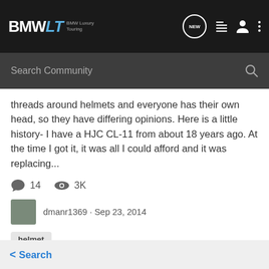BMWLT BMW Luxury Touring
threads around helmets and everyone has their own head, so they have differing opinions. Here is a little history- I have a HJC CL-11 from about 18 years ago. At the time I got it, it was all I could afford and it was replacing...
14  3K
dmanr1369 · Sep 23, 2014
helmet
1-4 of 4 Results
< Search